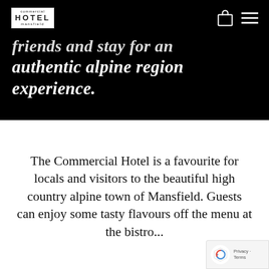commercial HOTEL mansfield
friends and stay for an authentic alpine region experience.
The Commercial Hotel is a favourite for locals and visitors to the beautiful high country alpine town of Mansfield. Guests can enjoy some tasty flavours off the menu at the bistro...